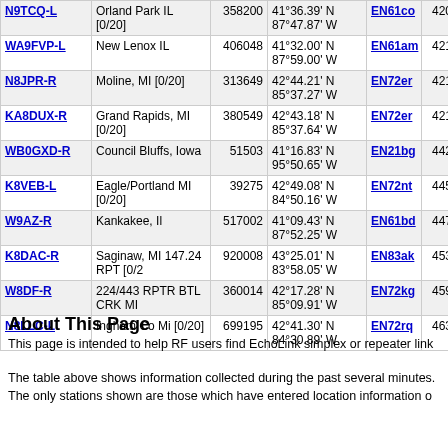| Call | Location | Node | Coordinates | Grid | Dist | Extra |
| --- | --- | --- | --- | --- | --- | --- |
| N9TCQ-L | Orland Park IL [0/20] | 358200 | 41°36.39' N 87°47.87' W | EN61co | 420.8 |  |
| WA9FVP-L | New Lenox IL | 406048 | 41°32.00' N 87°59.00' W | EN61am | 421.2 |  |
| N8JPR-R | Moline, MI [0/20] | 313649 | 42°44.21' N 85°37.27' W | EN72er | 421.2 |  |
| KA8DUX-R | Grand Rapids, MI [0/20] | 380549 | 42°43.18' N 85°37.64' W | EN72er | 421.9 |  |
| WB0GXD-R | Council Bluffs, Iowa | 51503 | 41°16.83' N 95°50.65' W | EN21bg | 442.4 | 442.525 |
| K8VEB-L | Eagle/Portland MI [0/20] | 39275 | 42°49.08' N 84°50.16' W | EN72nt | 445.8 |  |
| W9AZ-R | Kankakee, Il | 517002 | 41°09.43' N 87°52.25' W | EN61bd | 447.2 | 146.940 |
| K8DAC-R | Saginaw, MI 147.24 RPT [0/2 | 920008 | 43°25.01' N 83°58.05' W | EN83ak | 453.7 | 147.240 |
| W8DF-R | 224/443 RPTR BTL CRK MI | 360014 | 42°17.28' N 85°09.91' W | EN72kg | 459.8 | 224.240 |
| N8LLC-L | Ingham Co Mi [0/20] | 699195 | 42°41.30' N 84°30.89' W | EN72rq | 463.9 |  |
About This Page
This page is intended to help RF users find EchoLink simplex or repeater link
The table above shows information collected during the past several minutes. The only stations shown are those which have entered location information o